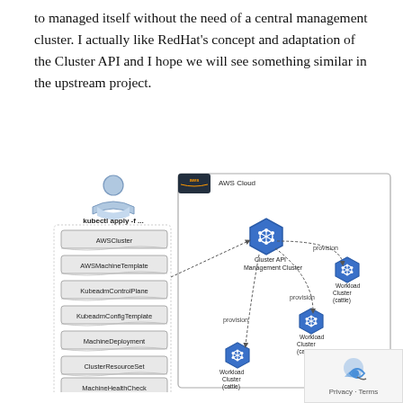to managed itself without the need of a central management cluster. I actually like RedHat's concept and adaptation of the Cluster API and I hope we will see something similar in the upstream project.
[Figure (flowchart): AWS Cloud architecture diagram showing a user applying kubectl apply -f ... with resource types (AWSCluster, AWSMachineTemplate, KubeadmControlPlane, KubeadmConfigTemplate, MachineDeployment, ClusterResourceSet, MachineHealthCheck) feeding into a Cluster API Management Cluster (Kubernetes logo) inside an AWS Cloud box, which provisions three Workload Clusters (cattle) via dashed arrows.]